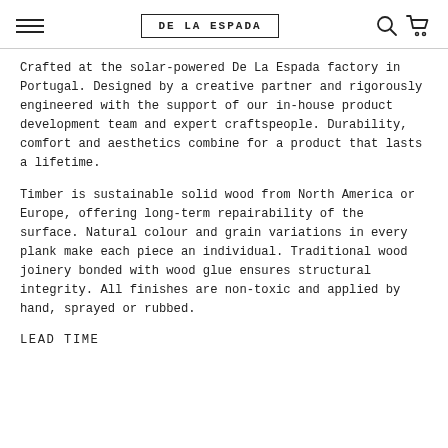DE LA ESPADA
Crafted at the solar-powered De La Espada factory in Portugal. Designed by a creative partner and rigorously engineered with the support of our in-house product development team and expert craftspeople. Durability, comfort and aesthetics combine for a product that lasts a lifetime.
Timber is sustainable solid wood from North America or Europe, offering long-term repairability of the surface. Natural colour and grain variations in every plank make each piece an individual. Traditional wood joinery bonded with wood glue ensures structural integrity. All finishes are non-toxic and applied by hand, sprayed or rubbed.
LEAD TIME